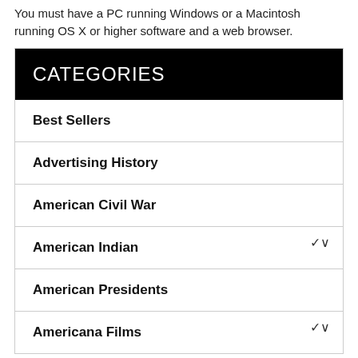You must have a PC running Windows or a Macintosh running OS X or higher software and a web browser.
CATEGORIES
Best Sellers
Advertising History
American Civil War
American Indian
American Presidents
Americana Films